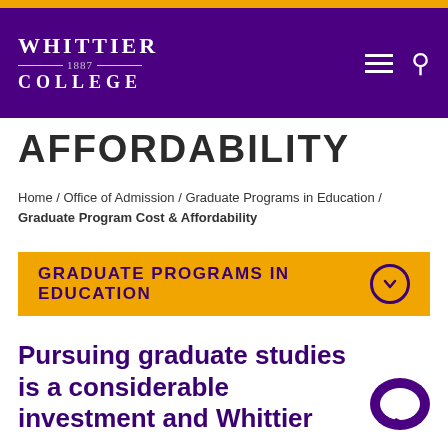[Figure (logo): Whittier College logo in white text on purple background header with hamburger menu and search icon]
AFFORDABILITY
Home / Office of Admission / Graduate Programs in Education / Graduate Program Cost & Affordability
GRADUATE PROGRAMS IN EDUCATION
Pursuing graduate studies is a considerable investment and Whittier